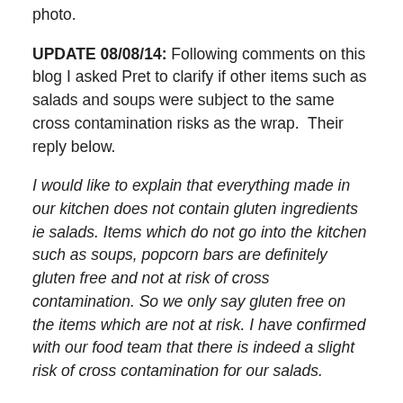Thanks also to Sarah from the Wallowing Bliss blog for the photo.
UPDATE 08/08/14: Following comments on this blog I asked Pret to clarify if other items such as salads and soups were subject to the same cross contamination risks as the wrap.  Their reply below.
I would like to explain that everything made in our kitchen does not contain gluten ingredients ie salads. Items which do not go into the kitchen such as soups, popcorn bars are definitely gluten free and not at risk of cross contamination. So we only say gluten free on the items which are not at risk. I have confirmed with our food team that there is indeed a slight risk of cross contamination for our salads.
UPDATE 15/08/14: I've also had some comment back